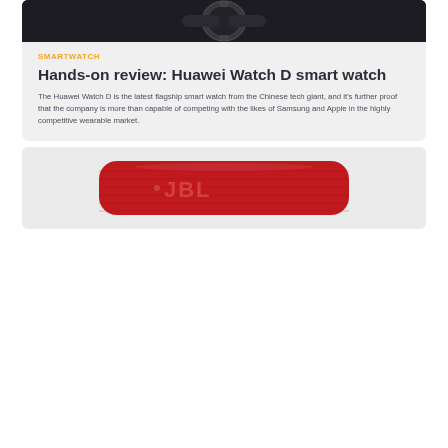[Figure (photo): Huawei Watch D smartwatch on dark background, top portion of card]
SMARTWATCH
Hands-on review: Huawei Watch D smart watch
The Huawei Watch D is the latest flagship smart watch from the Chinese tech giant, and it's further proof that the company is more than capable of competing with the likes of Samsung and Apple in the highly competitive wearable market.
[Figure (photo): Red JBL Charge portable Bluetooth speaker on light grey background]